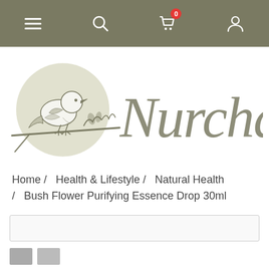Navigation bar with menu, search, cart (0 items), and account icons
[Figure (logo): Nurcha brand logo: a bird perched on a branch with foliage inside a light olive circle, with the handwritten script text 'Nurcha' to the right]
Home /  Health & Lifestyle /  Natural Health /  Bush Flower Purifying Essence Drop 30ml
[Figure (screenshot): Search/filter bar — empty horizontal input bar with light border]